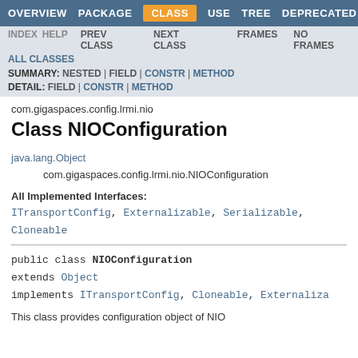OVERVIEW  PACKAGE  CLASS  USE  TREE  DEPRECATED
INDEX  HELP  PREV CLASS  NEXT CLASS  FRAMES  NO FRAMES  ALL CLASSES
SUMMARY: NESTED | FIELD | CONSTR | METHOD  DETAIL: FIELD | CONSTR | METHOD
com.gigaspaces.config.lrmi.nio
Class NIOConfiguration
java.lang.Object
    com.gigaspaces.config.lrmi.nio.NIOConfiguration
All Implemented Interfaces:
ITransportConfig, Externalizable, Serializable, Cloneable
public class NIOConfiguration
extends Object
implements ITransportConfig, Cloneable, Externaliza
This class provides configuration object of NIO